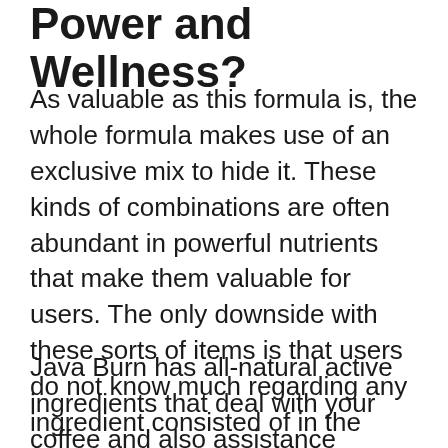Power and Wellness?
As valuable as this formula is, the whole formula makes use of an exclusive mix to hide it. These kinds of combinations are often abundant in powerful nutrients that make them valuable for users. The only downside with these sorts of items is that users do not know much regarding any ingredient consisted of in the formula. Rather, they base just how this product works on the presumed benefits of each component's purpose.
Java Burn has all-natural active ingredients that deal with your coffee and also assistance supply weight reduction metabolic benefits. However, the business